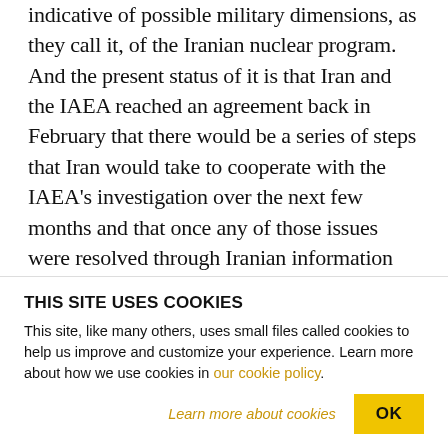indicative of possible military dimensions, as they call it, of the Iranian nuclear program. And the present status of it is that Iran and the IAEA reached an agreement back in February that there would be a series of steps that Iran would take to cooperate with the IAEA's investigation over the next few months and that once any of those issues were resolved through Iranian information and explanation to the satisfaction of the IAEA, the IAEA would then close the file on that issue.
THIS SITE USES COOKIES
This site, like many others, uses small files called cookies to help us improve and customize your experience. Learn more about how we use cookies in our cookie policy.
Learn more about cookies
OK